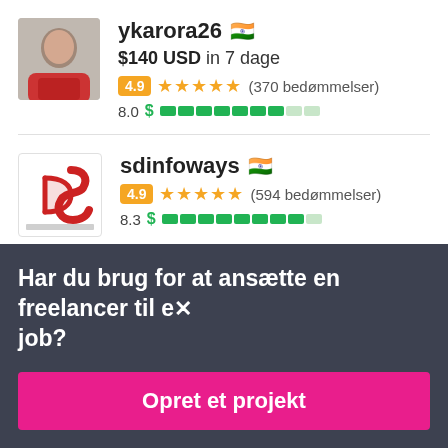ykarora26 🇮🇳
$140 USD in 7 dage
4.9 ★★★★★ (370 bedømmelser)
8.0 $ [progress bar]
[Figure (photo): Profile photo of user ykarora26 — man in red jacket]
[Figure (logo): sdinfoways logo — stylized red S D monogram]
sdinfoways 🇮🇳
4.9 ★★★★★ (594 bedømmelser)
8.3 $ [progress bar]
Har du brug for at ansætte en freelancer til et job?
Opret et projekt